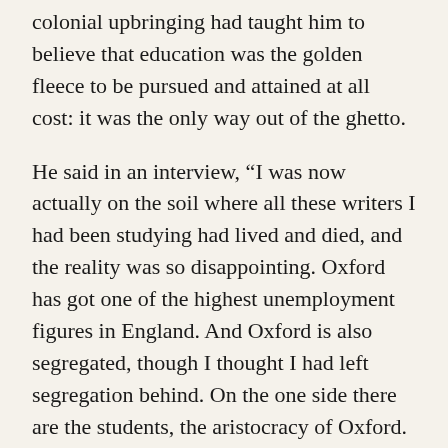colonial upbringing had taught him to believe that education was the golden fleece to be pursued and attained at all cost: it was the only way out of the ghetto.
He said in an interview, “I was now actually on the soil where all these writers I had been studying had lived and died, and the reality was so disappointing. Oxford has got one of the highest unemployment figures in England. And Oxford is also segregated, though I thought I had left segregation behind. On the one side there are the students, the aristocracy of Oxford. On the other side, there is a whole army of thousands and thousands of ordinary workers who live and work there. I mean, Jesus Christ, for the first time at Oxford I had a white servant.”
From all accounts he never really encountered overt racism at Oxford—he was, after all, a member of the Oxford “aristocracy.” The brand of racism here was